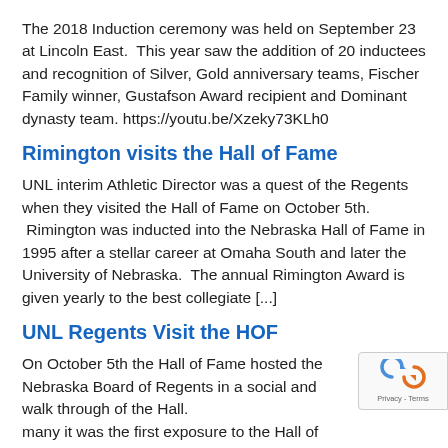The 2018 Induction ceremony was held on September 23 at Lincoln East.  This year saw the addition of 20 inductees and recognition of Silver, Gold anniversary teams, Fischer Family winner, Gustafson Award recipient and Dominant dynasty team. https://youtu.be/Xzeky73KLh0
Rimington visits the Hall of Fame
UNL interim Athletic Director was a quest of the Regents when they visited the Hall of Fame on October 5th.  Rimington was inducted into the Nebraska Hall of Fame in 1995 after a stellar career at Omaha South and later the University of Nebraska.  The annual Rimington Award is given yearly to the best collegiate [...]
UNL Regents Visit the HOF
On October 5th the Hall of Fame hosted the Nebraska Board of Regents in a social and walk through of the Hall.  For many it was the first exposure to the Hall of Fame and all